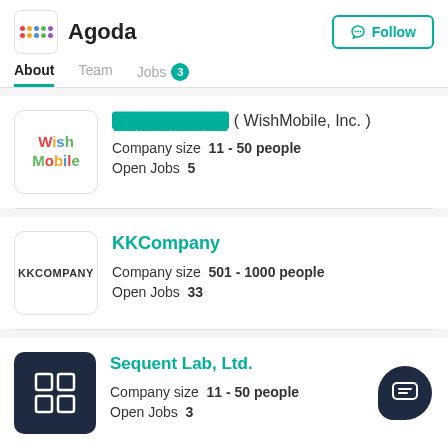Agoda
About  Team  Jobs 3
WishMobile, Inc. — Company size 11 - 50 people  Open Jobs 5
KKCompany — Company size 501 - 1000 people  Open Jobs 33
Sequent Lab, Ltd. — Company size 11 - 50 people  Open Jobs 3
[redacted company] — Company size 501 - 1000 people